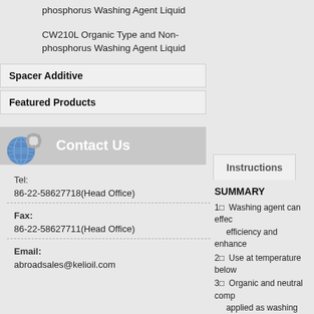phosphorus Washing Agent Liquid
CW210L Organic Type and Non-phosphorus Washing Agent Liquid
Spacer Additive
Featured Products
[Figure (logo): Globe and gear icon for Contact Us section]
Contact Us
Tel:
86-22-58627718(Head Office)
Fax:
86-22-58627711(Head Office)
Email:
abroadsales@kelioil.com
Instructions
SUMMARY
1□  Washing agent can effec... efficiency and enhance...
2□  Use at temperature below...
3□  Organic and neutral comp... applied as washing ano... performance can be ac...
4□  In case of making new wa...
5□  Washing liquid cannot be... Or negative outcomes m...
6□  Long time storage may re... performance.